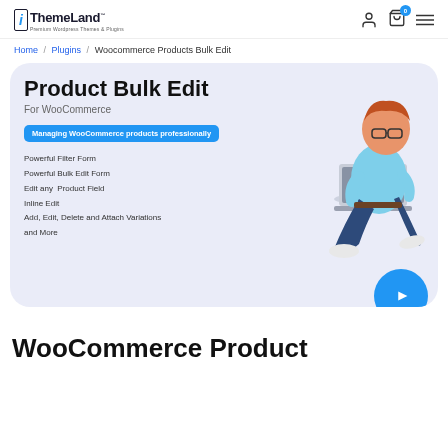iThemeLand — Premium WordPress Themes & Plugins
Home / Plugins / Woocommerce Products Bulk Edit
[Figure (illustration): Product Bulk Edit plugin promotional banner with 3D character sitting with laptop. Text: Product Bulk Edit For WooCommerce. Managing WooCommerce products professionally. Features: Powerful Filter Form, Powerful Bulk Edit Form, Edit any Product Field, Inline Edit, Add Edit Delete and Attach Variations and More. Play button overlay bottom right.]
WooCommerce Product